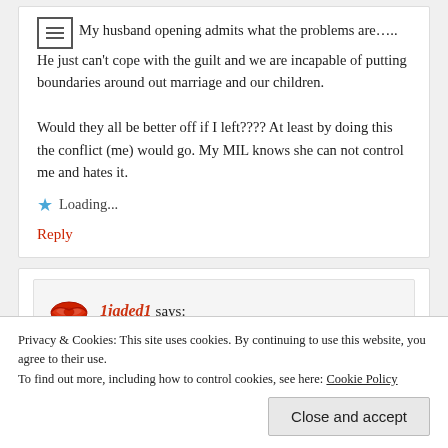My husband opening admits what the problems are….. He just can't cope with the guilt and we are incapable of putting boundaries around out marriage and our children. Would they all be better off if I left???? At least by doing this the conflict (me) would go. My MIL knows she can not control me and hates it.
Loading...
Reply
1jaded1 says:
Privacy & Cookies: This site uses cookies. By continuing to use this website, you agree to their use. To find out more, including how to control cookies, see here: Cookie Policy
Close and accept